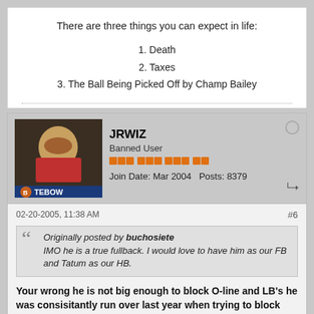There are three things you can expect in life:
1. Death
2. Taxes
3. The Ball Being Picked Off by Champ Bailey
JRWIZ
Banned User
Join Date: Mar 2004   Posts: 8379
02-20-2005, 11:38 AM
#6
Originally posted by buchosiete IMO he is a true fullback. I would love to have him as our FB and Tatum as our HB.
Your wrong he is not big enough to block O-line and LB's he was consisitantly run over last year when trying to block them, for that